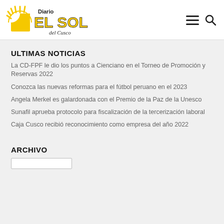Diario El Sol del Cusco
ULTIMAS NOTICIAS
La CD-FPF le dio los puntos a Cienciano en el Torneo de Promoción y Reservas 2022
Conozca las nuevas reformas para el fútbol peruano en el 2023
Angela Merkel es galardonada con el Premio de la Paz de la Unesco
Sunafil aprueba protocolo para fiscalización de la tercerización laboral
Caja Cusco recibió reconocimiento como empresa del año 2022
ARCHIVO